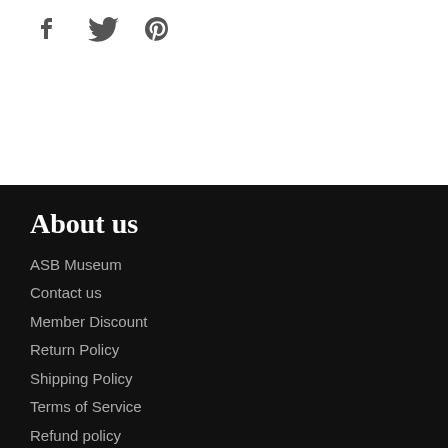[Figure (illustration): Three social media icons (Facebook, Twitter, Pinterest) in dark gray on white background]
About us
ASB Museum
Contact us
Member Discount
Return Policy
Shipping Policy
Terms of Service
Refund policy
Follow us
[Figure (illustration): Four social media icons (Facebook, Twitter, Pinterest, Instagram) in dark gray on black background]